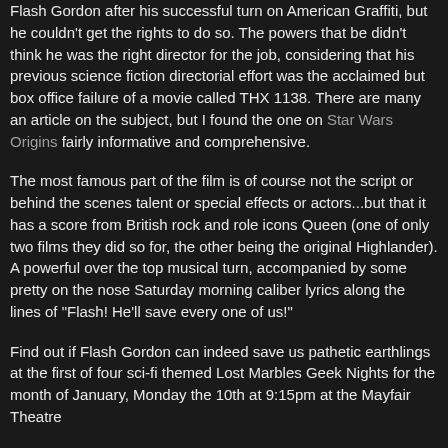Flash Gordon after his successful turn on American Graffiti, but he couldn't get the rights to do so. The powers that be didn't think he was the right director for the job, considering that his previous science fiction directorial effort was the acclaimed but box office failure of a movie called THX 1138. There are many an article on the subject, but I found the one on Star Wars Origins fairly informative and comprehensive.
The most famous part of the film is of course not the script or behind the scenes talent or special effects or actors...but that it has a score from British rock and role icons Queen (one of only two films they did so for, the other being the original Highlander). A powerful over the top musical turn, accompanied by some pretty on the nose Saturday morning caliber lyrics along the lines of "Flash! He'll save every one of us!"
Find out if Flash Gordon can indeed save us pathetic earthlings at the first of four sci-fi themed Lost Marbles Geek Nights for the month of January, Monday the 10th at 9:15pm at the Mayfair Theatre